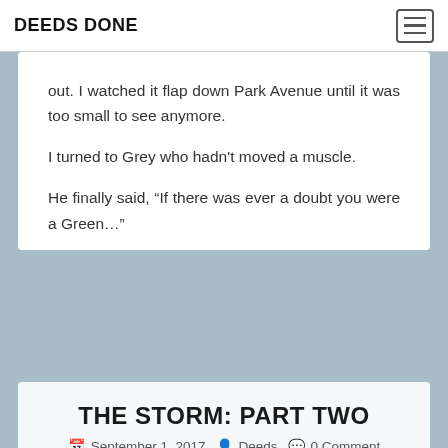DEEDS DONE
out. I watched it flap down Park Avenue until it was too small to see anymore.

I turned to Grey who hadn't moved a muscle.

He finally said, “If there was ever a doubt you were a Green…”
THE STORM: PART TWO
September 1, 2017  Deeds  0 Comment